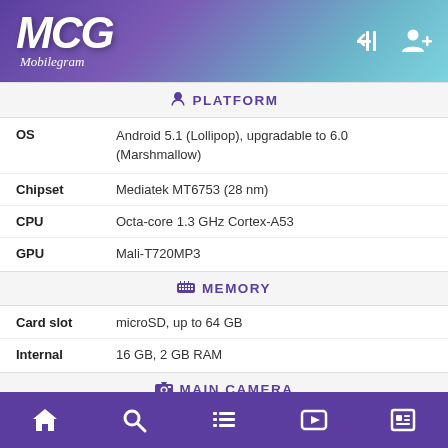MCG Mobilegram
PLATFORM
| Spec | Value |
| --- | --- |
| OS | Android 5.1 (Lollipop), upgradable to 6.0 (Marshmallow) |
| Chipset | Mediatek MT6753 (28 nm) |
| CPU | Octa-core 1.3 GHz Cortex-A53 |
| GPU | Mali-T720MP3 |
MEMORY
| Spec | Value |
| --- | --- |
| Card slot | microSD, up to 64 GB |
| Internal | 16 GB, 2 GB RAM |
MAIN CAMERA
| Spec | Value |
| --- | --- |
| Single | 13 MP, AF |
| Features | LED flash, panorama, HDR |
| Video | 1080p@30fps |
SELFIE CAMERA
Home Search List Video News navigation bar